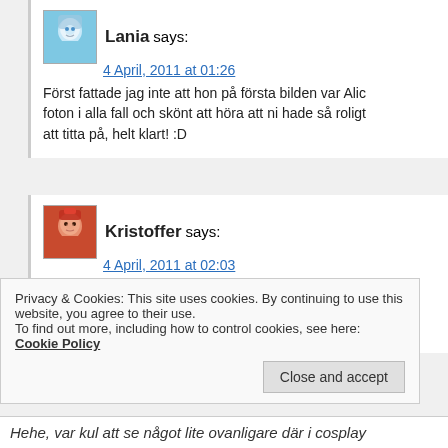Lania says:
4 April, 2011 at 01:26
Först fattade jag inte att hon på första bilden var Alic foton i alla fall och skönt att höra att ni hade så roligt att titta på, helt klart! :D
Kristoffer says:
4 April, 2011 at 02:03
Som sagt, jävligt surt att man inte var med.
Trist med så mycket Star Wars crap överallt men kul å åtminstone. Awesome med V, undrar om det var Huge
Privacy & Cookies: This site uses cookies. By continuing to use this website, you agree to their use.
To find out more, including how to control cookies, see here: Cookie Policy
Close and accept
Hehe, var kul att se något lite ovanligare där i cosplay